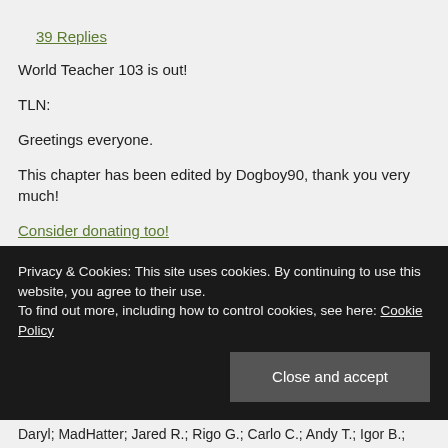39 Replies
World Teacher 103 is out!
TLN:
Greetings everyone.
This chapter has been edited by Dogboy90, thank you very much!
Consider donating too!
Privacy & Cookies: This site uses cookies. By continuing to use this website, you agree to their use.
To find out more, including how to control cookies, see here: Cookie Policy
Close and accept
Daryl; MadHatter; Jared R.; Rigo G.; Carlo C.; Andy T.; Igor B.;